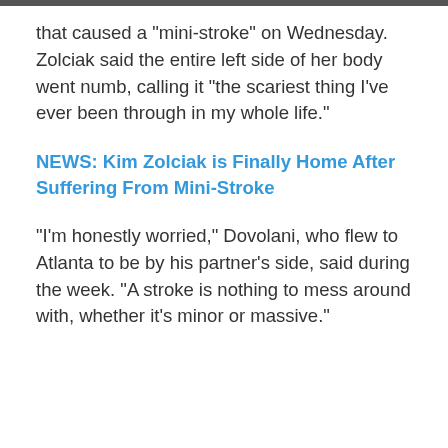that caused a "mini-stroke" on Wednesday. Zolciak said the entire left side of her body went numb, calling it "the scariest thing I've ever been through in my whole life."
NEWS: Kim Zolciak is Finally Home After Suffering From Mini-Stroke
"I'm honestly worried," Dovolani, who flew to Atlanta to be by his partner's side, said during the week. "A stroke is nothing to mess around with, whether it's minor or massive."